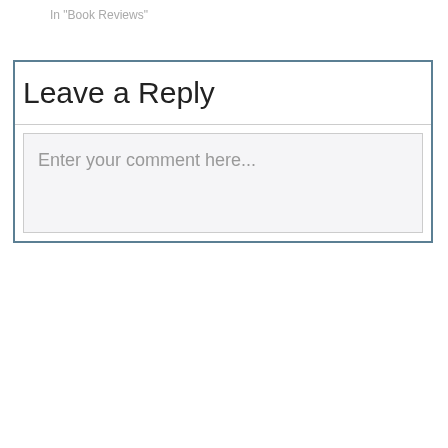In "Book Reviews"
Leave a Reply
Enter your comment here...